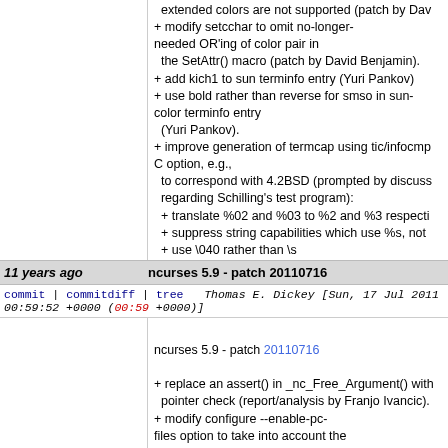extended colors are not supported (patch by Dav
+ modify setcchar to omit no-longer-needed OR'ing of color pair in
  the SetAttr() macro (patch by David Benjamin).
+ add kich1 to sun terminfo entry (Yuri Pankov)
+ use bold rather than reverse for smso in sun-color terminfo entry
  (Yuri Pankov).
+ improve generation of termcap using tic/infocmp -C option, e.g.,
  to correspond with 4.2BSD (prompted by discuss regarding Schilling's test program):
  + translate %02 and %03 to %2 and %3 respecti
  + suppress string capabilities which use %s, not
  + use \040 rather than \s
  + expand null characters as \200 rather than \0
+ modify configure script to support shared librarie
11 years ago    ncurses 5.9 - patch 20110716
commit | commitdiff | tree    Thomas E. Dickey [Sun, 17 Jul 2011 00:59:52 +0000 (00:59 +0000)]
ncurses 5.9 - patch 20110716

+ replace an assert() in _nc_Free_Argument() with pointer check (report/analysis by Franjo Ivancic).
+ modify configure --enable-pc-files option to take into account the
  PKG_CONFIG_PATH variable (report by Freder